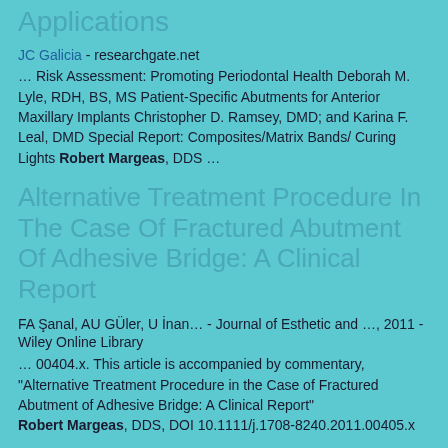Applications
JC Galicia - researchgate.net
… Risk Assessment: Promoting Periodontal Health Deborah M. Lyle, RDH, BS, MS Patient-Specific Abutments for Anterior Maxillary Implants Christopher D. Ramsey, DMD; and Karina F. Leal, DMD Special Report: Composites/Matrix Bands/ Curing Lights Robert Margeas, DDS …
Alternative Treatment Procedure In The Case Of Fractured Abutment Of Adhesive Bridge: A Clinical Report
FA Şanal, AU GÜler, U İnan… - Journal of Esthetic and …, 2011 - Wiley Online Library
… 00404.x. This article is accompanied by commentary, "Alternative Treatment Procedure in the Case of Fractured Abutment of Adhesive Bridge: A Clinical Report" Robert Margeas, DDS, DOI 10.1111/j.1708-8240.2011.00405.x …
Cited by 1 Related articles All 6 versions